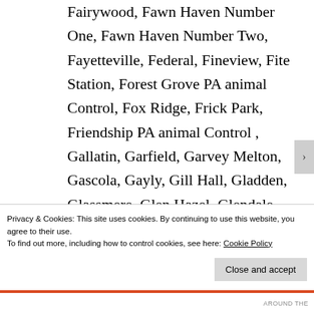Fairywood, Fawn Haven Number One, Fawn Haven Number Two, Fayetteville, Federal, Fineview, Fite Station, Forest Grove PA animal Control, Fox Ridge, Frick Park, Friendship PA animal Control, Gallatin, Garfield, Garvey Melton, Gascola, Gayly, Gill Hall, Gladden, Glassmere, Glen Hazel, Glendale, Glenwillard, Gregg, Groveton, Harley, Harmarx Heights...
Privacy & Cookies: This site uses cookies. By continuing to use this website, you agree to their use.
To find out more, including how to control cookies, see here: Cookie Policy
Close and accept